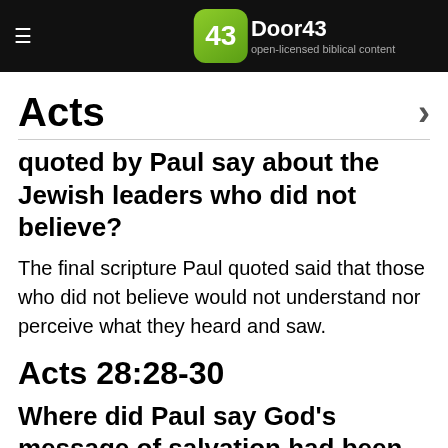Door43 open-licensed biblical content
Acts
quoted by Paul say about the Jewish leaders who did not believe?
The final scripture Paul quoted said that those who did not believe would not understand nor perceive what they heard and saw.
Acts 28:28-30
Where did Paul say God's message of salvation had been sent, and